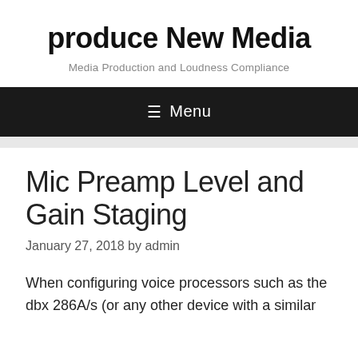produce New Media
Media Production and Loudness Compliance
≡ Menu
Mic Preamp Level and Gain Staging
January 27, 2018 by admin
When configuring voice processors such as the dbx 286A/s (or any other device with a similar